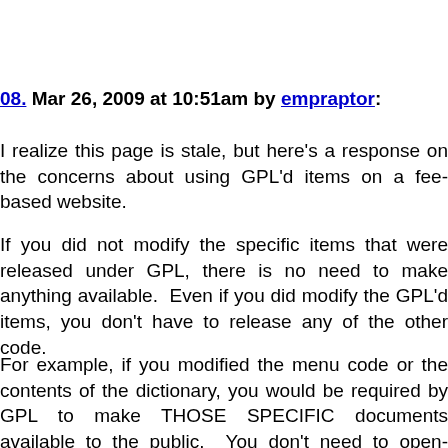08. Mar 26, 2009 at 10:51am by empraptor:
I realize this page is stale, but here's a response on the concerns about using GPL'd items on a fee-based website.
If you did not modify the specific items that were released under GPL, there is no need to make anything available.  Even if you did modify the GPL'd items, you don't have to release any of the other code.
For example, if you modified the menu code or the contents of the dictionary, you would be required by GPL to make THOSE SPECIFIC documents available to the public.  You don't need to open-source any other document that is part your